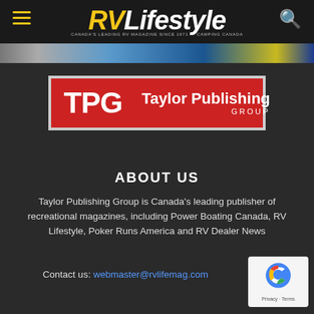RV Lifestyle — Canada's leading RV magazine since 1971
[Figure (logo): TPG Taylor Publishing Group logo — red background with white bold TPG letters, vertical divider, Taylor Publishing Group text]
ABOUT US
Taylor Publishing Group is Canada's leading publisher of recreational magazines, including Power Boating Canada, RV Lifestyle, Poker Runs America and RV Dealer News
Contact us: webmaster@rvlifemag.com